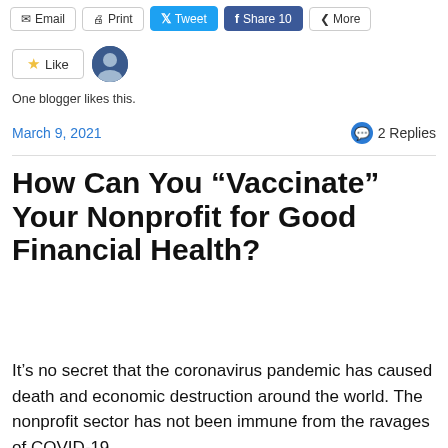Email | Print | Tweet | Share 10 | More
One blogger likes this.
March 9, 2021   2 Replies
How Can You “Vaccinate” Your Nonprofit for Good Financial Health?
It’s no secret that the coronavirus pandemic has caused death and economic destruction around the world. The nonprofit sector has not been immune from the ravages of COVID-19.